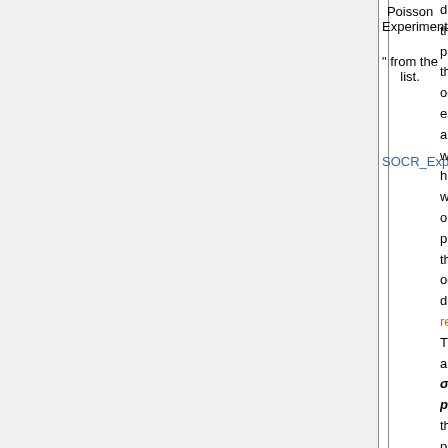Poisson Experiment
" from the list.
SOCR_Experiments.html
distribution. theoretical probabilities the number occurrences each proc are depic with b histograms, while observed proportions the number occurrences displayed us red histogr The theoret and observed σ, a proportions the sec process ( graph on right side of